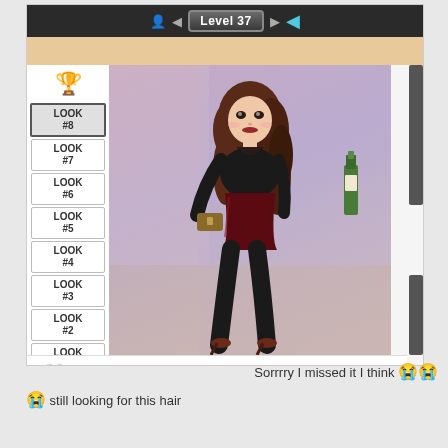[Figure (screenshot): Mobile game screenshot showing a fashion/dress-up game at Level 37. Left panel shows LOOK #2 through LOOK #8 with LOOK #8 selected (highlighted). Main area shows an avatar character with long brown wavy hair wearing a black sheer top, dark red mini skirt, black stockings, and heels, holding a clutch bag. Bottom bar shows a heart icon and '0 Votes'. Top bar shows Level 37 badge.]
Sorrrry I missed it I think 😭😭
😭 still looking for this hair